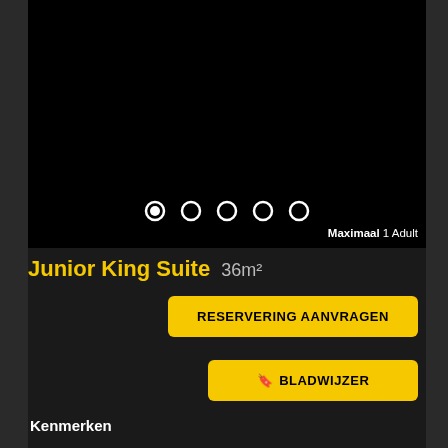[Figure (photo): Hotel room image area - black/dark background, image carousel with 5 dot indicators, first dot selected]
Maximaal 1 Adult
Junior King Suite 36m²
RESERVERING AANVRAGEN
BLADWIJZER
Kenmerken